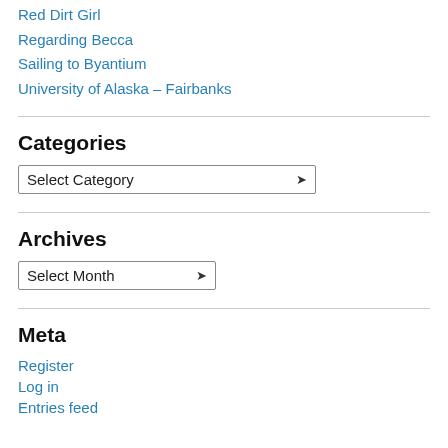Red Dirt Girl
Regarding Becca
Sailing to Byantium
University of Alaska – Fairbanks
Categories
Select Category (dropdown)
Archives
Select Month (dropdown)
Meta
Register
Log in
Entries feed